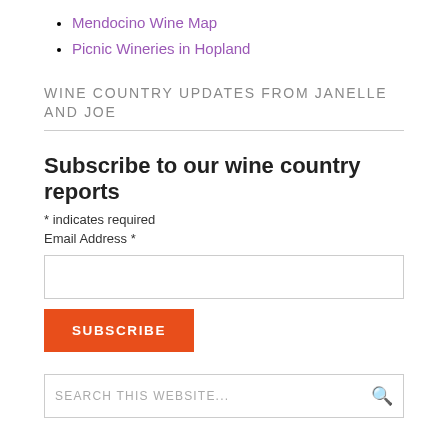Mendocino Wine Map
Picnic Wineries in Hopland
WINE COUNTRY UPDATES FROM JANELLE AND JOE
Subscribe to our wine country reports
* indicates required
Email Address *
SUBSCRIBE
SEARCH THIS WEBSITE...